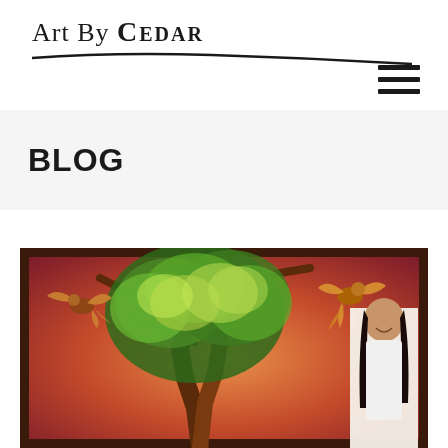Art By Cedar
BLOG
[Figure (photo): A woman with long dark hair standing next to a large framed painting of a tree with green and yellow foliage on a warm red/orange background, with bird-like fantasy creatures on each side of the tree.]